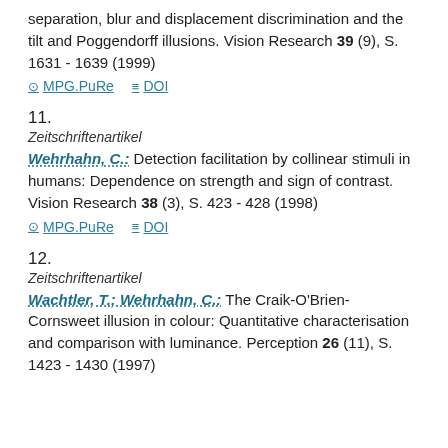separation, blur and displacement discrimination and the tilt and Poggendorff illusions. Vision Research 39 (9), S. 1631 - 1639 (1999)
MPG.PuRe   DOI
11.
Zeitschriftenartikel
Wehrhahn, C.: Detection facilitation by collinear stimuli in humans: Dependence on strength and sign of contrast. Vision Research 38 (3), S. 423 - 428 (1998)
MPG.PuRe   DOI
12.
Zeitschriftenartikel
Wachtler, T.; Wehrhahn, C.: The Craik-O'Brien-Cornsweet illusion in colour: Quantitative characterisation and comparison with luminance. Perception 26 (11), S. 1423 - 1430 (1997)